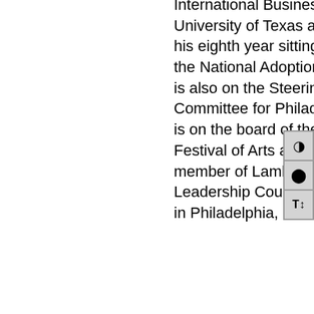International Business from the University of Texas at Austin. This is his eighth year sitting on the board of the National Adoption Center and he is also on the Steering and Advisory Committee for Philadelphia Fight. He is on the board of the International Festival of Arts and Ideas, and is a member of Lambda Legal's National Leadership Council. Michael resides in Philadelphia, Pennsylvania.